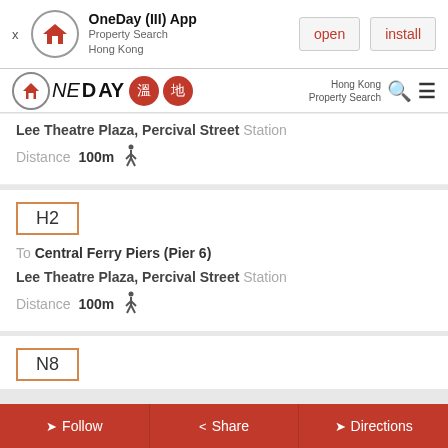[Figure (screenshot): App install banner for OneDay App - Property Search Hong Kong, with open and install buttons]
OneDay (III) App Property Search Hong Kong — open | install
[Figure (logo): OneDay property search logo with red circular house icon and Chinese character badges]
Lee Theatre Plaza, Percival Street Station
Distance 100m
H2
To Central Ferry Piers (Pier 6)
Lee Theatre Plaza, Percival Street Station
Distance 100m
N8
Follow | Share | Directions